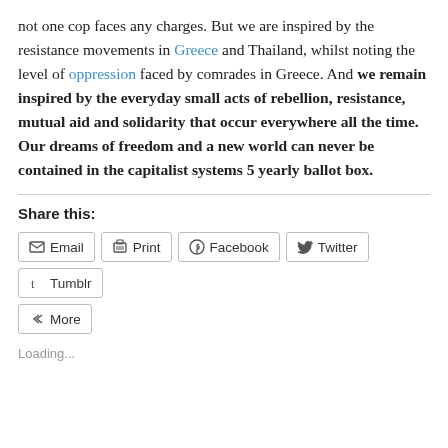not one cop faces any charges. But we are inspired by the resistance movements in Greece and Thailand, whilst noting the level of oppression faced by comrades in Greece. And we remain inspired by the everyday small acts of rebellion, resistance, mutual aid and solidarity that occur everywhere all the time. Our dreams of freedom and a new world can never be contained in the capitalist systems 5 yearly ballot box.
Share this:
Email | Print | Facebook | Twitter | Tumblr | More
Loading...